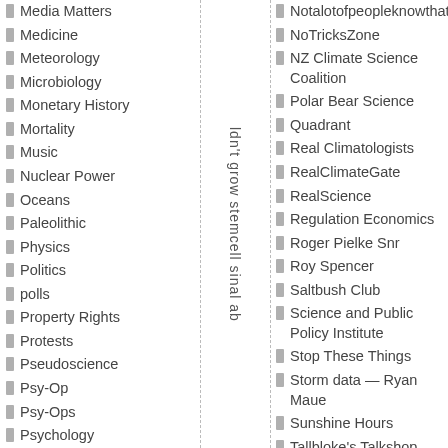Media Matters
Medicine
Meteorology
Microbiology
Monetary History
Mortality
Music
Nuclear Power
Oceans
Paleolithic
Physics
Politics
polls
Property Rights
Protests
Pseudoscience
Psy-Op
Psy-Ops
Psychology
Renewable
Renewables
ldn't grow stemcell sinab…
Notalotofpeopleknowthat
NoTricksZone
NZ Climate Science Coalition
Polar Bear Science
Quadrant
Real Climatologists
RealClimateGate
RealScience
Regulation Economics
Roger Pielke Snr
Roy Spencer
Saltbush Club
Science and Public Policy Institute
Stop These Things
Storm data — Ryan Maue
Sunshine Hours
Tallbloke's Talkshop
The Marcus Review